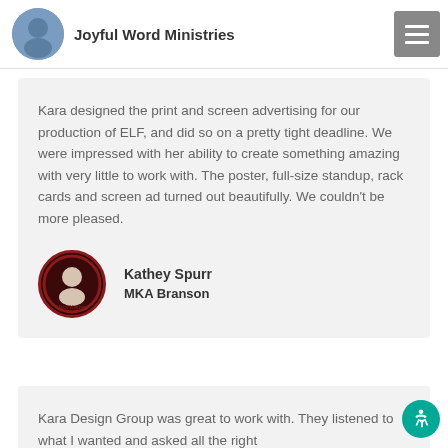Joyful Word Ministries
Kara designed the print and screen advertising for our production of ELF, and did so on a pretty tight deadline. We were impressed with her ability to create something amazing with very little to work with. The poster, full-size standup, rack cards and screen ad turned out beautifully. We couldn't be more pleased.
Kathey Spurr
MKA Branson
Kara Design Group was great to work with. They listened to what I wanted and asked all the right